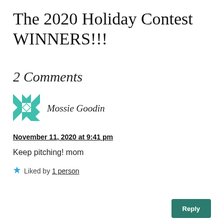The 2020 Holiday Contest WINNERS!!!
2 Comments
[Figure (illustration): Teal and white patterned quilt-block avatar icon for user Mossie Goodin]
Mossie Goodin
November 11, 2020 at 9:41 pm
Keep pitching! mom
Liked by 1 person